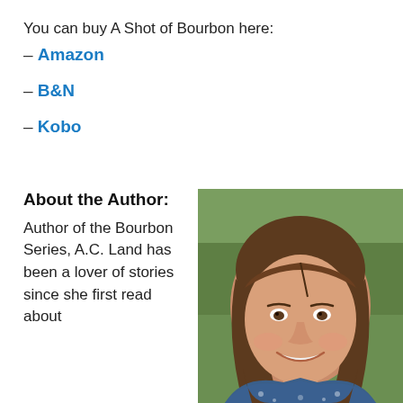You can buy A Shot of Bourbon here:
– Amazon
– B&N
– Kobo
About the Author:
Author of the Bourbon Series, A.C. Land has been a lover of stories since she first read about
[Figure (photo): Headshot of A.C. Land, a young woman with long brown hair, smiling, wearing a blue and white paisley top, with green grass background]